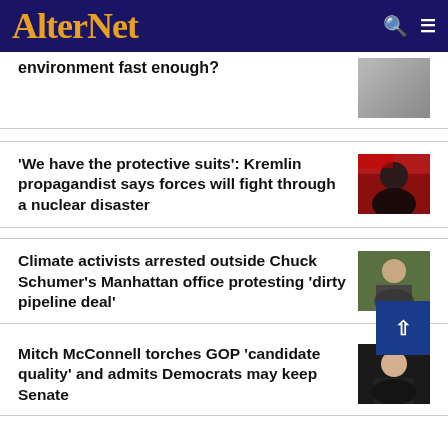AlterNet
environment fast enough?
'We have the protective suits': Kremlin propagandist says forces will fight through a nuclear disaster
Climate activists arrested outside Chuck Schumer's Manhattan office protesting 'dirty pipeline deal'
Mitch McConnell torches GOP 'candidate quality' and admits Democrats may keep Senate
MOST POPULAR